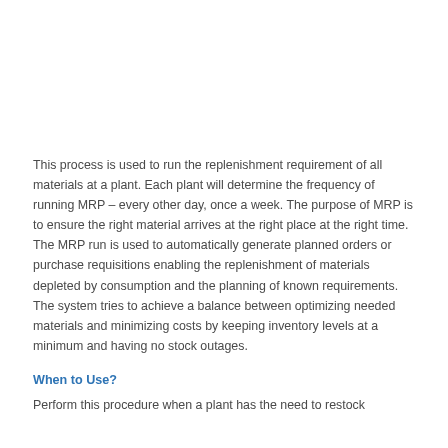This process is used to run the replenishment requirement of all materials at a plant.  Each plant will determine the frequency of running MRP – every other day, once a week.  The purpose of MRP is to ensure the right material arrives at the right place at the right time.  The MRP run is used to automatically generate planned orders or purchase requisitions enabling the replenishment of materials depleted by consumption and the planning of known requirements. The system tries to achieve a balance between optimizing needed materials and minimizing costs by keeping inventory levels at a minimum and having no stock outages.
When to Use?
Perform this procedure when a plant has the need to restock